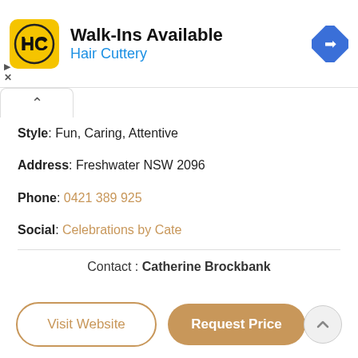[Figure (logo): Hair Cuttery advertisement banner with HC logo in yellow square, Walk-Ins Available text, and blue navigation diamond icon]
Style: Fun, Caring, Attentive
Address: Freshwater NSW 2096
Phone: 0421 389 925
Social: Celebrations by Cate
Contact : Catherine Brockbank
Visit Website
Request Price